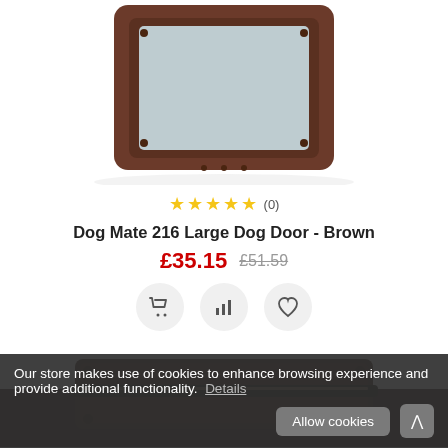[Figure (photo): Top portion of a brown dog door (Dog Mate 216 Large Dog Door) showing the brown plastic frame with transparent flap, photographed on white background]
☆☆☆☆☆ (0)
Dog Mate 216 Large Dog Door - Brown
£35.15  £51.59
[Figure (illustration): Three circular action buttons: shopping cart icon, bar chart/compare icon, and heart/wishlist icon]
[Figure (photo): Bottom portion of the brown dog door product, showing the dark brown frame piece, photographed on a dark background]
Our store makes use of cookies to enhance browsing experience and provide additional functionality.  Details
Allow cookies